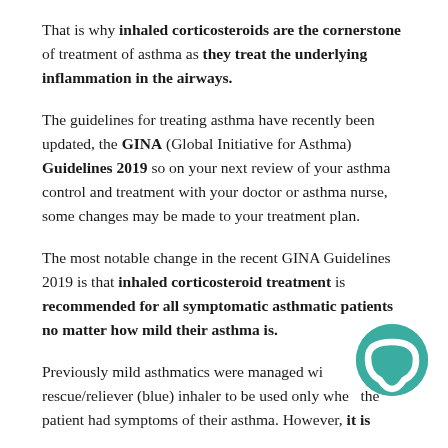That is why inhaled corticosteroids are the cornerstone of treatment of asthma as they treat the underlying inflammation in the airways.
The guidelines for treating asthma have recently been updated, the GINA (Global Initiative for Asthma) Guidelines 2019 so on your next review of your asthma control and treatment with your doctor or asthma nurse, some changes may be made to your treatment plan.
The most notable change in the recent GINA Guidelines 2019 is that inhaled corticosteroid treatment is recommended for all symptomatic asthmatic patients no matter how mild their asthma is.
Previously mild asthmatics were managed with a rescue/reliever (blue) inhaler to be used only when the patient had symptoms of their asthma. However, it is
[Figure (illustration): Teal/green circular speech bubble or chat icon in the bottom right corner of the page]